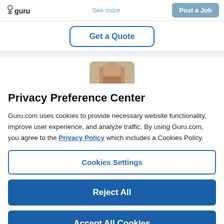guru | See more | Post a Job
[Figure (screenshot): Get a Quote button with rounded border in blue outline style]
[Figure (photo): Partial profile photo of a person, cropped at top]
Privacy Preference Center
Guru.com uses cookies to provide necessary website functionality, improve user experience, and analyze traffic. By using Guru.com, you agree to the Privacy Policy which includes a Cookies Policy.
Cookies Settings
Reject All
Accept All Cookies